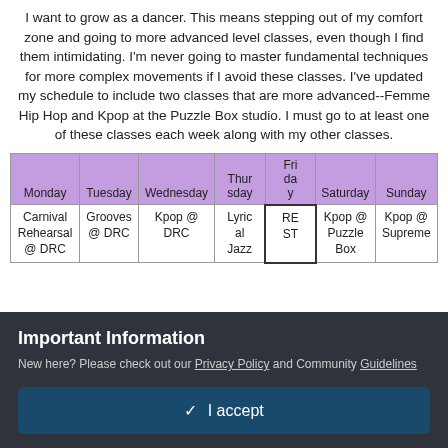I want to grow as a dancer. This means stepping out of my comfort zone and going to more advanced level classes, even though I find them intimidating. I'm never going to master fundamental techniques for more complex movements if I avoid these classes. I've updated my schedule to include two classes that are more advanced--Femme Hip Hop and Kpop at the Puzzle Box studio. I must go to at least one of these classes each week along with my other classes.
| Monday | Tuesday | Wednesday | Thursday | Friday | Saturday | Sunday |
| --- | --- | --- | --- | --- | --- | --- |
| Carnival Rehearsal @ DRC | Grooves @ DRC | Kpop @ DRC | Lyrical Jazz | REST | Kpop @ Puzzle Box | Kpop @ Supreme |
Important Information
New here? Please check out our Privacy Policy and Community Guidelines
✓ I accept